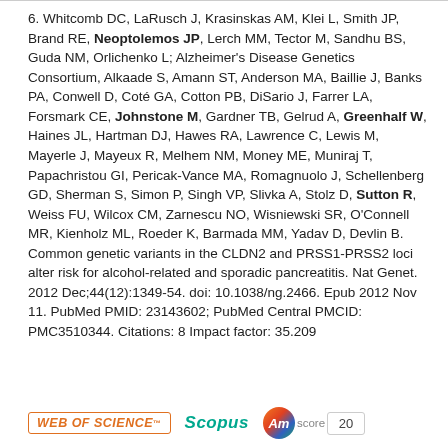6. Whitcomb DC, LaRusch J, Krasinskas AM, Klei L, Smith JP, Brand RE, Neoptolemos JP, Lerch MM, Tector M, Sandhu BS, Guda NM, Orlichenko L; Alzheimer's Disease Genetics Consortium, Alkaade S, Amann ST, Anderson MA, Baillie J, Banks PA, Conwell D, Coté GA, Cotton PB, DiSario J, Farrer LA, Forsmark CE, Johnstone M, Gardner TB, Gelrud A, Greenhalf W, Haines JL, Hartman DJ, Hawes RA, Lawrence C, Lewis M, Mayerle J, Mayeux R, Melhem NM, Money ME, Muniraj T, Papachristou GI, Pericak-Vance MA, Romagnuolo J, Schellenberg GD, Sherman S, Simon P, Singh VP, Slivka A, Stolz D, Sutton R, Weiss FU, Wilcox CM, Zarnescu NO, Wisniewski SR, O'Connell MR, Kienholz ML, Roeder K, Barmada MM, Yadav D, Devlin B. Common genetic variants in the CLDN2 and PRSS1-PRSS2 loci alter risk for alcohol-related and sporadic pancreatitis. Nat Genet. 2012 Dec;44(12):1349-54. doi: 10.1038/ng.2466. Epub 2012 Nov 11. PubMed PMID: 23143602; PubMed Central PMCID: PMC3510344. Citations: 8 Impact factor: 35.209
[Figure (logo): Web of Science badge, Scopus badge, and Altmetric score badge showing score 20]